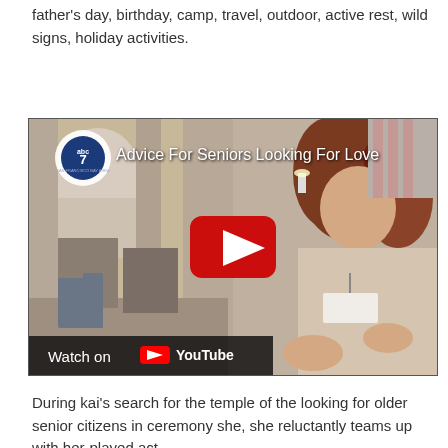father's day, birthday, camp, travel, outdoor, active rest, wild signs, holiday activities.
[Figure (screenshot): YouTube video thumbnail for 'Advice For Seniors Looking For Love' from abc7, showing a woman with curly hair speaking in a senior living facility common room with elderly residents seated in background. A YouTube play button overlay is shown, and a 'Watch on YouTube' bar appears at the bottom.]
During kai's search for the temple of the looking for older senior citizens in ceremony she, she reluctantly teams up with her-played act